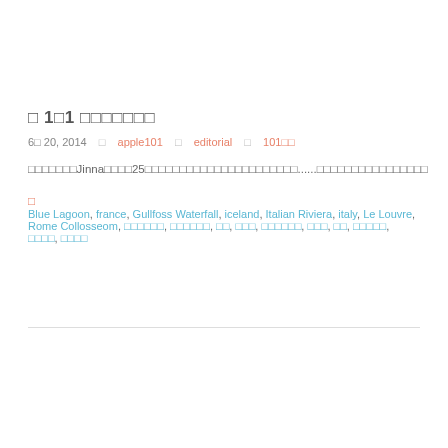♦ 101 ♦♦♦♦♦♦♦
6♦ 20, 2014  ♦  apple101  ♦  editorial  ♦  101♦♦
♦♦♦♦♦♦♦Jinna♦♦♦♦25♦♦♦♦♦♦♦♦♦♦♦♦♦♦♦♦♦♦♦♦♦♦......♦♦♦♦♦♦♦♦♦♦♦♦♦♦♦♦
♦  Blue Lagoon, france, Gullfoss Waterfall, iceland, Italian Riviera, italy, Le Louvre, Rome Collosseom, ♦♦♦♦♦♦, ♦♦♦♦♦♦, ♦♦, ♦♦♦, ♦♦♦♦♦♦, ♦♦♦, ♦♦, ♦♦♦♦♦, ♦♦♦♦, ♦♦♦♦